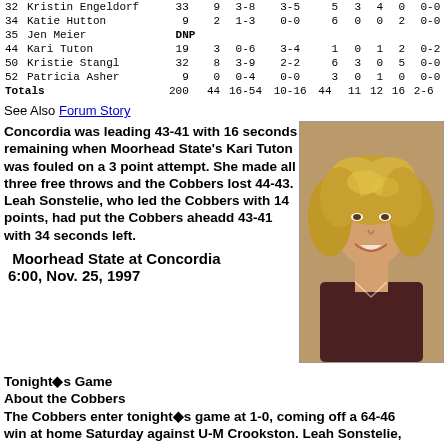| # | Name | Min | Pts | FG | FT | Reb | A | B | S | TO |
| --- | --- | --- | --- | --- | --- | --- | --- | --- | --- | --- |
| 32 | Kristin Engeldorf | 33 | 9 | 3-8 | 3-5 | 5 | 3 | 4 | 0 | 0-0 |
| 34 | Katie Hutton | 9 | 2 | 1-3 | 0-0 | 6 | 0 | 0 | 2 | 0-0 |
| 35 | Jen Meier | DNP |  |  |  |  |  |  |  |  |
| 44 | Kari Tuton | 19 | 3 | 0-6 | 3-4 | 1 | 0 | 1 | 2 | 0-2 |
| 50 | Kristie Stangl | 32 | 8 | 3-9 | 2-2 | 6 | 3 | 0 | 5 | 0-0 |
| 52 | Patricia Asher | 9 | 0 | 0-4 | 0-0 | 3 | 0 | 1 | 0 | 0-0 |
| Totals |  | 200 | 44 | 16-54 | 10-16 | 44 | 11 | 12 | 16 | 2-6 |
See Also Forum Story
Concordia was leading 43-41 with 16 seconds remaining when Moorhead State's Kari Tuton was fouled on a 3 point attempt. She made all three free throws and the Cobbers lost 44-43. Leah Sonstelie, who led the Cobbers with 14 points, had put the Cobbers aheadd 43-41 with 34 seconds left.
[Figure (photo): Portrait photo of a young woman with curly blonde hair, smiling, wearing a dark sports jersey]
Moorhead State at Concordia 6:00, Nov. 25, 1997
Tonight's Game
About the Cobbers
The Cobbers enter tonight's game at 1-0, coming off a 64-46 win at home Saturday against U-M Crookston. Leah Sonstelie,